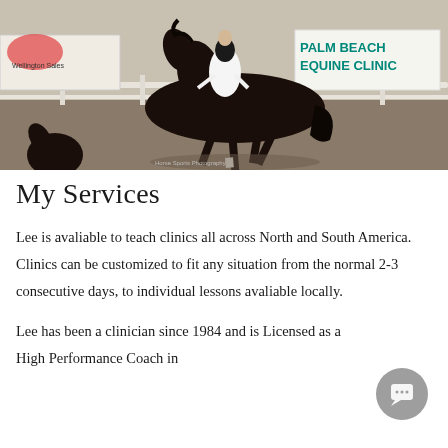[Figure (photo): A dressage rider on a dark bay horse trotting in an arena. In the background is a white fence and a green sign reading 'PALM BEACH EQUINE CLINIC'. A second horse head is visible in the lower left corner. A sponsor banner is visible on the left.]
My Services
Lee is avaliable to teach clinics all across North and South America. Clinics can be customized to fit any situation from the normal 2-3 consecutive days, to individual lessons avaliable locally.
Lee has been a clinician since 1984 and is Licensed as a High Performance Coach in